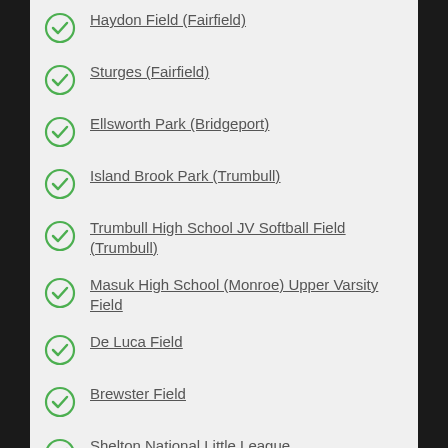Haydon Field (Fairfield)
Sturges (Fairfield)
Ellsworth Park (Bridgeport)
Island Brook Park (Trumbull)
Trumbull High School JV Softball Field (Trumbull)
Masuk High School (Monroe) Upper Varsity Field
De Luca Field
Brewster Field
Shelton National Little League
Weston Softball Field